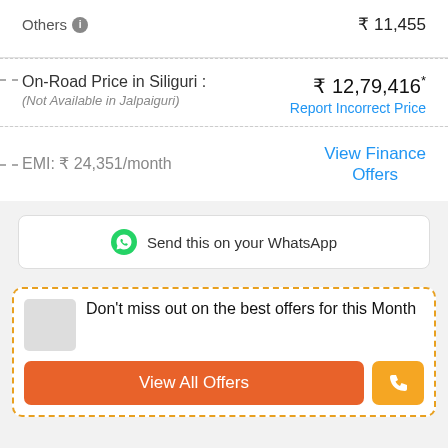Others  ₹ 11,455
On-Road Price in Siliguri : ₹ 12,79,416*
(Not Available in Jalpaiguri)
Report Incorrect Price
EMI: ₹ 24,351/month
View Finance Offers
Send this on your WhatsApp
Don't miss out on the best offers for this Month
View All Offers